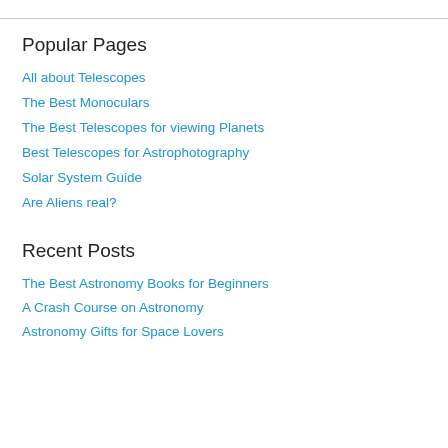Popular Pages
All about Telescopes
The Best Monoculars
The Best Telescopes for viewing Planets
Best Telescopes for Astrophotography
Solar System Guide
Are Aliens real?
Recent Posts
The Best Astronomy Books for Beginners
A Crash Course on Astronomy
Astronomy Gifts for Space Lovers